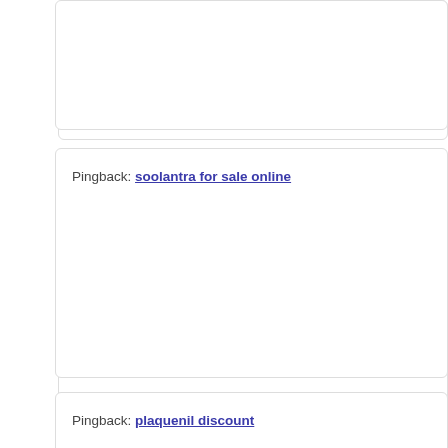Pingback: soolantra for sale online
Pingback: plaquenil discount
Pingback: prednisone 40mg
Pingback: priligy buy